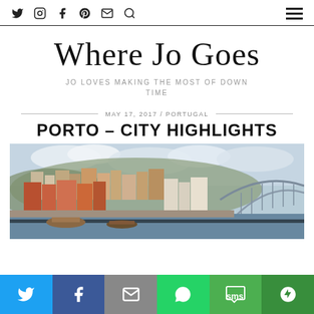Navigation icons: Twitter, Instagram, Facebook, Pinterest, Mail, Search | Hamburger menu
Where Jo Goes
JO LOVES MAKING THE MOST OF DOWN TIME
MAY 17, 2017 / PORTUGAL
PORTO – CITY HIGHLIGHTS
[Figure (photo): Panoramic cityscape of Porto with colorful buildings on hillside, Dom Luís I Bridge visible on right, river Douro in foreground with boats]
Share bar: Twitter, Facebook, Email, WhatsApp, SMS, More